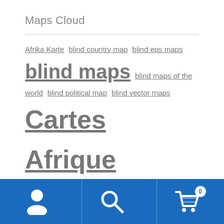Maps Cloud
Afrika Karte blind country map blind eps maps blind maps blind maps of the world blind political map blind vector maps Cartes Afrique vector city eps maps city map Europe city maps of download city maps of Europe eps countries of the world country maps of the world country vector maps Country Vector Maps Africa. Vector Africa Maps. Illustrator maps of Africa. eps maps of african countries. Download maps of Africa. Africa country maps. Cartes Afrique Country Vector
[Figure (other): Bottom navigation bar with user icon, search icon, and shopping cart icon with badge showing 0]